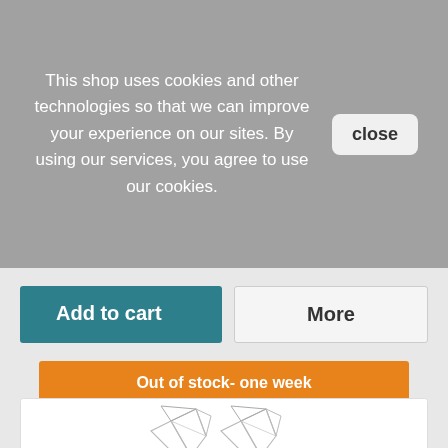This shop uses cookies and other technologies so that we can improve your experience on our sites. By using our services, you agree to use our cookies.
close
Add to cart
More
Out of stock- one week
♡ Add to Wishlist
+ Add to Compare
[Figure (photo): Partial view of a crystal or glass jewelry item at the bottom of the page]